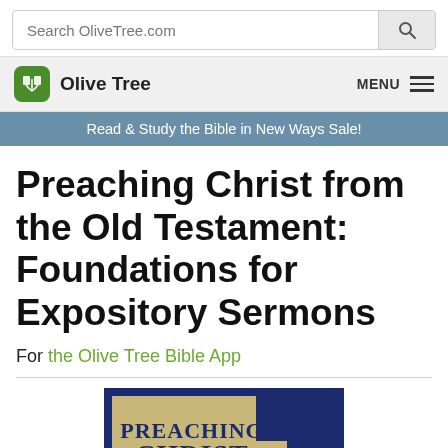Search OliveTree.com
Olive Tree  MENU
Read & Study the Bible in New Ways Sale!
Preaching Christ from the Old Testament: Foundations for Expository Sermons
For the Olive Tree Bible App
[Figure (illustration): Book cover showing 'PREACHING CHRIST from the OLD' text on a tan and navy blue background]